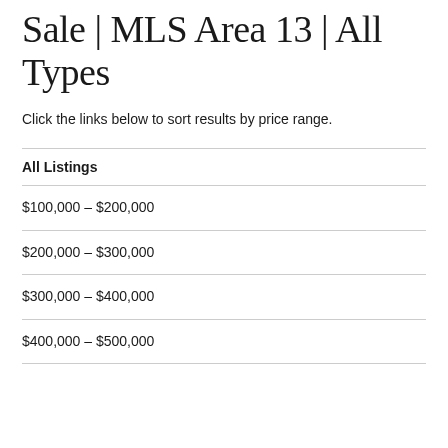... | Norton | Homes for Sale | MLS Area 13 | All Types
Click the links below to sort results by price range.
All Listings
$100,000 – $200,000
$200,000 – $300,000
$300,000 – $400,000
$400,000 – $500,000